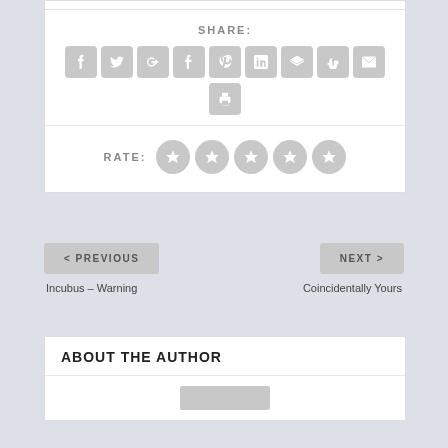SHARE:
[Figure (infographic): Social share buttons: Facebook, Twitter, Google+, Tumblr, Pinterest, LinkedIn, Buffer, StumbleUpon, Email, Print]
RATE:
[Figure (infographic): Five star rating icons (grey circles with star symbols)]
< PREVIOUS
NEXT >
Incubus – Warning
Coincidentally Yours
ABOUT THE AUTHOR